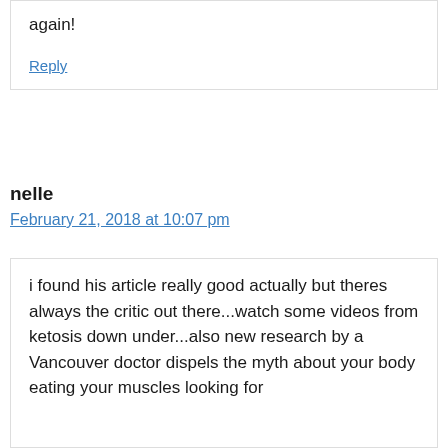again!
Reply
nelle
February 21, 2018 at 10:07 pm
i found his article really good actually but theres always the critic out there...watch some videos from ketosis down under...also new research by a Vancouver doctor dispels the myth about your body eating your muscles looking for